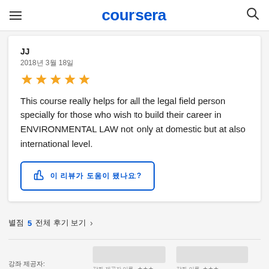coursera
JJ
2018년 3월 18일
[Figure (other): 5 gold star rating]
This course really helps for all the legal field person specially for those who wish to build their career in ENVIRONMENTAL LAW not only at domestic but at also international level.
이 리뷰가 도움이 됐나요?
별점 5 전체 후기 보기 >